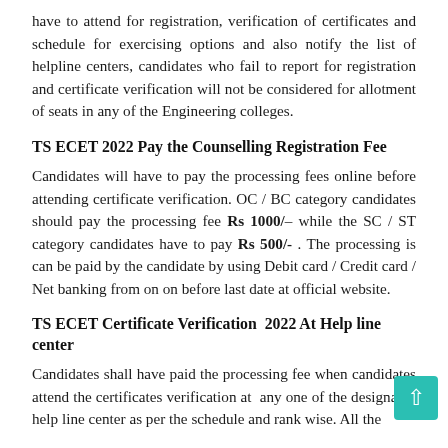have to attend for registration, verification of certificates and schedule for exercising options and also notify the list of helpline centers, candidates who fail to report for registration and certificate verification will not be considered for allotment of seats in any of the Engineering colleges.
TS ECET 2022 Pay the Counselling Registration Fee
Candidates will have to pay the processing fees online before attending certificate verification. OC / BC category candidates should pay the processing fee Rs 1000/– while the SC / ST category candidates have to pay Rs 500/- . The processing is can be paid by the candidate by using Debit card / Credit card / Net banking from on on before last date at official website.
TS ECET Certificate Verification  2022 At Help line center
Candidates shall have paid the processing fee when candidates attend the certificates verification at  any one of the designated help line center as per the schedule and rank wise. All the